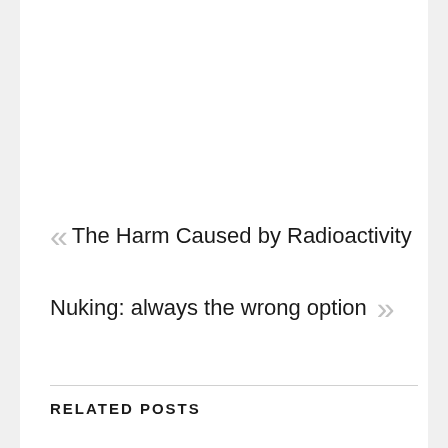« The Harm Caused by Radioactivity
Nuking: always the wrong option »
RELATED POSTS